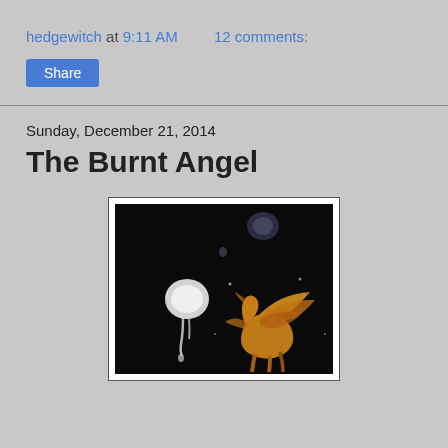hedgewitch at 9:11 AM   12 comments:
Share
Sunday, December 21, 2014
The Burnt Angel
[Figure (photo): Dark background image showing a winged horse (Pegasus) in golden tones on the right side, and a ghostly white drooping form on the left side, against a black background. A small floating jellyfish-like form appears near the top.]